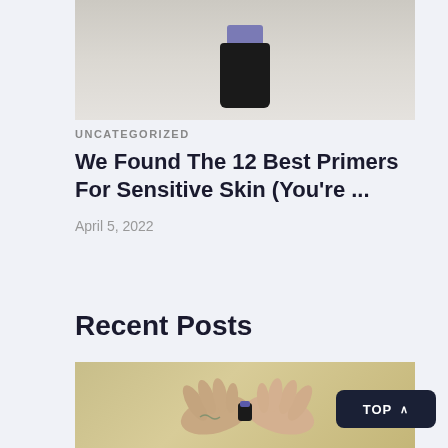[Figure (photo): Partial image of a skincare product bottle (dark bottle with purple cap) on a light beige background, cropped at top]
UNCATEGORIZED
We Found The 12 Best Primers For Sensitive Skin (You're ...
April 5, 2022
Recent Posts
[Figure (photo): Hands holding a small product or item, photographed from above on a light background]